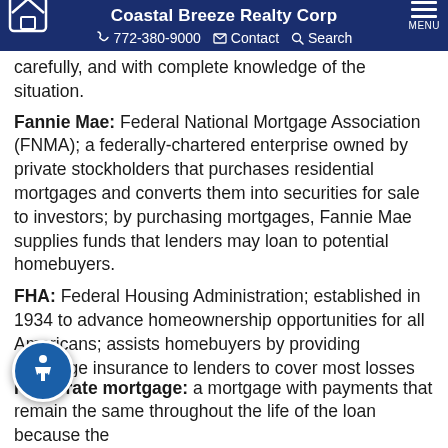Coastal Breeze Realty Corp | 772-380-9000 | Contact | Search | MENU
carefully, and with complete knowledge of the situation.
Fannie Mae: Federal National Mortgage Association (FNMA); a federally-chartered enterprise owned by private stockholders that purchases residential mortgages and converts them into securities for sale to investors; by purchasing mortgages, Fannie Mae supplies funds that lenders may loan to potential homebuyers.
FHA: Federal Housing Administration; established in 1934 to advance homeownership opportunities for all Americans; assists homebuyers by providing mortgage insurance to lenders to cover most losses that may occur when a borrower defaults; this encourages lenders to make loans to borrowers who might not qualify for conventional mortgages.
Fixed-rate mortgage: a mortgage with payments that remain the same throughout the life of the loan because the